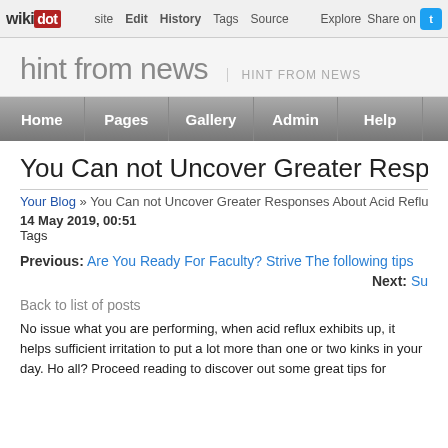wiki dot | Edit | History | Tags | Source | Explore | Share on Twitter
hint from news | HINT FROM NEWS
Home | Pages | Gallery | Admin | Help
You Can not Uncover Greater Responses About Acid Reflux
Your Blog » You Can not Uncover Greater Responses About Acid Reflux
14 May 2019, 00:51
Tags
Previous: Are You Ready For Faculty? Strive The following tips
Next: Su
Back to list of posts
No issue what you are performing, when acid reflux exhibits up, it helps sufficient irritation to put a lot more than one or two kinks in your day. Ho all? Proceed reading to discover out some great tips for performing just th